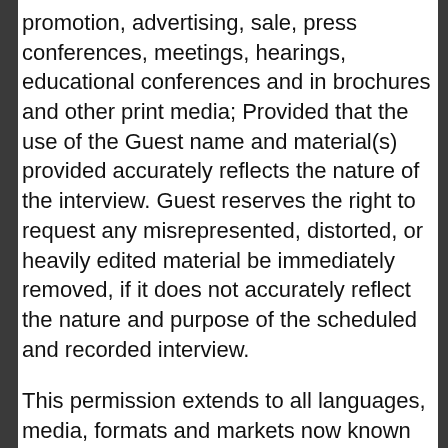promotion, advertising, sale, press conferences, meetings, hearings, educational conferences and in brochures and other print media; Provided that the use of the Guest name and material(s) provided accurately reflects the nature of the interview. Guest reserves the right to request any misrepresented, distorted, or heavily edited material be immediately removed, if it does not accurately reflect the nature and purpose of the scheduled and recorded interview.
This permission extends to all languages, media, formats and markets now known or hereafter devised. This permission shall remain valid unless I revoke the permission in writing. If I revoke the permission in writing, the Host has 10 business days to remove any and all use